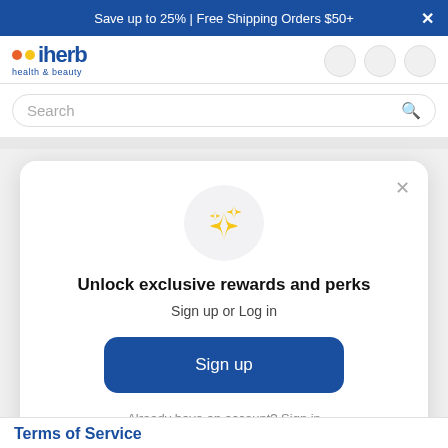Save up to 25% | Free Shipping Orders $50+
[Figure (logo): iHerb health & beauty logo with orange and yellow dots]
Search
[Figure (screenshot): Modal popup with sparkle icon, title 'Unlock exclusive rewards and perks', subtitle 'Sign up or Log in', a Sign up button, and 'Already have an account? Sign in' link]
Unlock exclusive rewards and perks
Sign up or Log in
Sign up
Already have an account? Sign in
Terms of Service